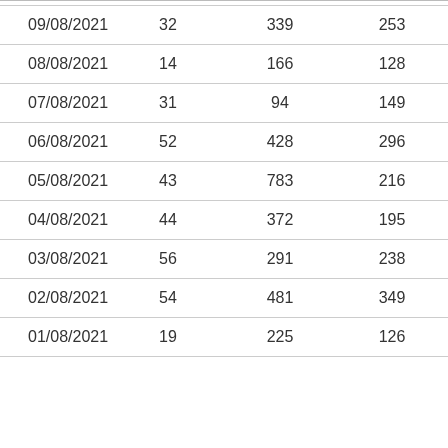| 09/08/2021 | 32 | 339 | 253 |
| 08/08/2021 | 14 | 166 | 128 |
| 07/08/2021 | 31 | 94 | 149 |
| 06/08/2021 | 52 | 428 | 296 |
| 05/08/2021 | 43 | 783 | 216 |
| 04/08/2021 | 44 | 372 | 195 |
| 03/08/2021 | 56 | 291 | 238 |
| 02/08/2021 | 54 | 481 | 349 |
| 01/08/2021 | 19 | 225 | 126 |